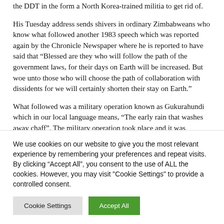the DDT in the form a North Korea-trained militia to get rid of.
His Tuesday address sends shivers in ordinary Zimbabweans who know what followed another 1983 speech which was reported again by the Chronicle Newspaper where he is reported to have said that “Blessed are they who will follow the path of the government laws, for their days on Earth will be increased. But woe unto those who will choose the path of collaboration with dissidents for we will certainly shorten their stay on Earth.”
What followed was a military operation known as Gukurahundi which in our local language means, “The early rain that washes away chaff”. The military operation took place and it was extraordinarily brutal where an estimated +/- 20 000 civilians were killed in the country’s Midlands and Matabeleland regions during the first years of our independence.
We use cookies on our website to give you the most relevant experience by remembering your preferences and repeat visits. By clicking “Accept All”, you consent to the use of ALL the cookies. However, you may visit "Cookie Settings" to provide a controlled consent.